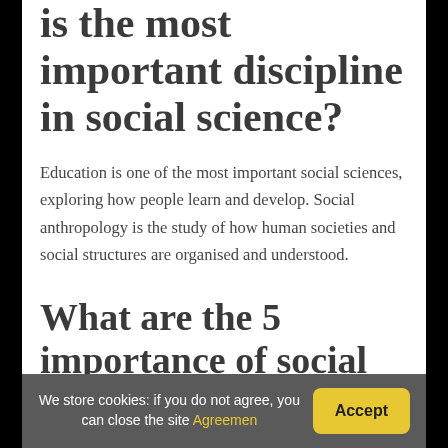is the most important discipline in social science?
Education is one of the most important social sciences, exploring how people learn and develop. Social anthropology is the study of how human societies and social structures are organised and understood.
What are the 5 importance of social studies?
We store cookies: if you do not agree, you can close the site Agreemen Accept